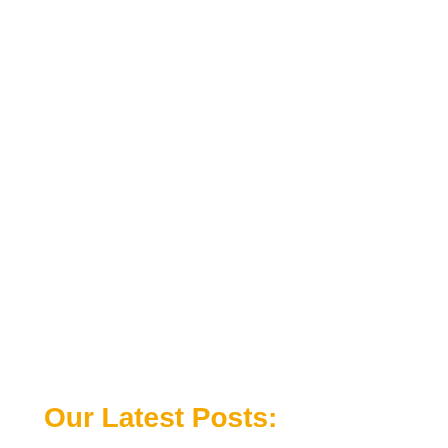[Figure (other): Scroll-to-top button: gray square with white upward chevron arrow, positioned at right edge of page]
Our Latest Posts: